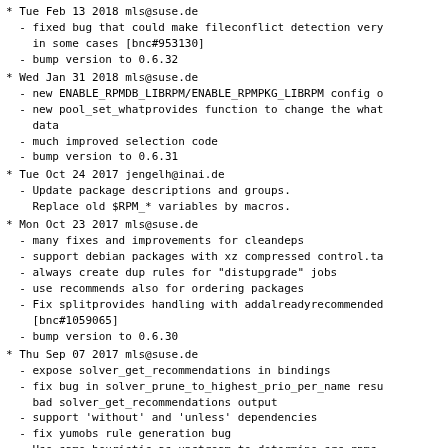* Tue Feb 13 2018 mls@suse.de
  - fixed bug that could make fileconflict detection very
    in some cases [bnc#953130]
  - bump version to 0.6.32
* Wed Jan 31 2018 mls@suse.de
  - new ENABLE_RPMDB_LIBRPM/ENABLE_RPMPKG_LIBRPM config o
  - new pool_set_whatprovides function to change the what
    data
  - much improved selection code
  - bump version to 0.6.31
* Tue Oct 24 2017 jengelh@inai.de
  - Update package descriptions and groups.
    Replace old $RPM_* variables by macros.
* Mon Oct 23 2017 mls@suse.de
  - many fixes and improvements for cleandeps
  - support debian packages with xz compressed control.ta
  - always create dup rules for "distupgrade" jobs
  - use recommends also for ordering packages
  - Fix splitprovides handling with addalreadyrecommended
    [bnc#1059065]
  - bump version to 0.6.30
* Thu Sep 07 2017 mls@suse.de
  - expose solver_get_recommendations in bindings
  - fix bug in solver_prune_to_highest_prio_per_name resu
    bad solver_get_recommendations output
  - support 'without' and 'unless' dependencies
  - fix yumobs rule generation bug
  - Use same heuristic as upstream to determine src rpms
  - bump version to 0.6.29
* Fri Jun 30 2017 mls@suse.de